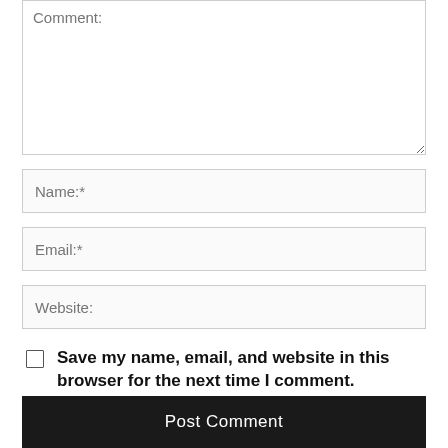Comment:
Name:*
Email:*
Website:
Save my name, email, and website in this browser for the next time I comment.
Post Comment